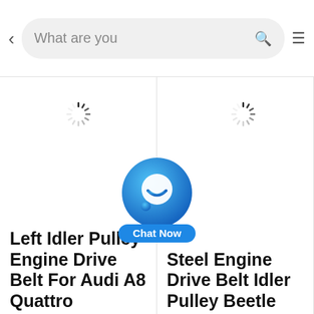[Figure (screenshot): Mobile app search bar with back arrow, search input showing 'What are you', search icon (green), and hamburger menu icon]
[Figure (other): Loading spinner icon in left product column]
[Figure (other): Chat Now floating button with blue circle chat icon and white smiley face]
[Figure (other): Loading spinner icon in right product column]
Left Idler Pulley Engine Drive Belt For Audi A8 Quattro
Steel Engine Drive Belt Idler Pulley Beetle